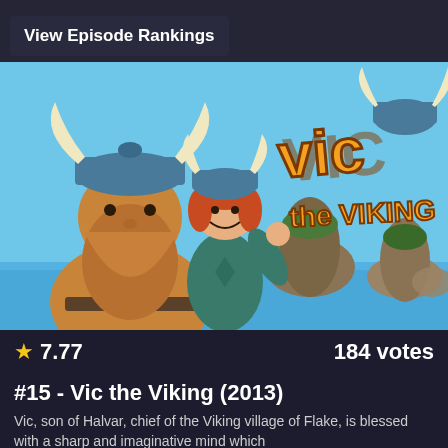View Episode Rankings
[Figure (photo): Promotional image for Vic the Viking (2013) animated show, showing a large bearded Viking character and a smaller red-haired child Viking with horned helmets, with the colorful stylized title 'Vic the Viking' logo on a sky blue background with rocky islands.]
★ 7.77    184 votes
#15 - Vic the Viking (2013)
Vic, son of Halvar, chief of the Viking village of Flake, is blessed with a sharp and imaginative mind which